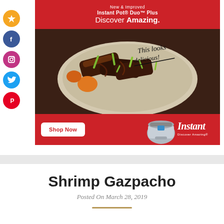[Figure (photo): Advertisement for Instant Pot Duo Plus with food image, 'Discover Amazing.' tagline and Shop Now button]
Shrimp Gazpacho
Posted On March 28, 2019